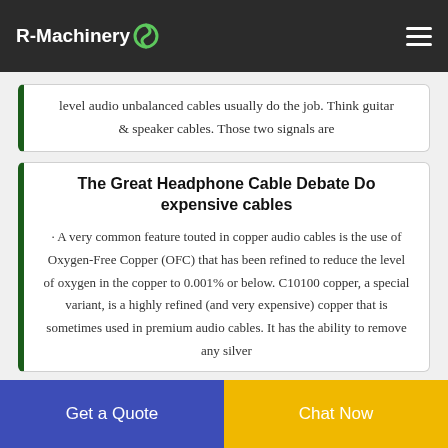R-Machinery
level audio unbalanced cables usually do the job. Think guitar & speaker cables. Those two signals are
The Great Headphone Cable Debate Do expensive cables
· A very common feature touted in copper audio cables is the use of Oxygen-Free Copper (OFC) that has been refined to reduce the level of oxygen in the copper to 0.001% or below. C10100 copper, a special variant, is a highly refined (and very expensive) copper that is sometimes used in premium audio cables. It has the ability to remove any silver
Get a Quote   Chat Now